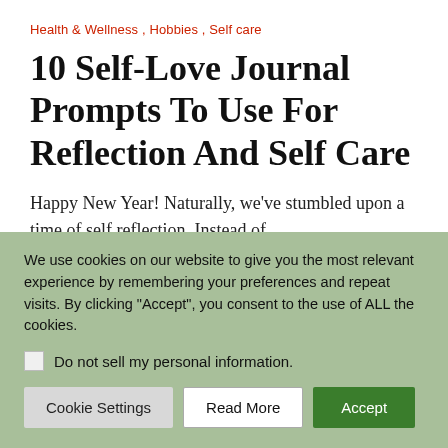Health & Wellness , Hobbies , Self care
10 Self-Love Journal Prompts To Use For Reflection And Self Care
Happy New Year! Naturally, we've stumbled upon a time of self reflection. Instead of
We use cookies on our website to give you the most relevant experience by remembering your preferences and repeat visits. By clicking "Accept", you consent to the use of ALL the cookies.
Do not sell my personal information.